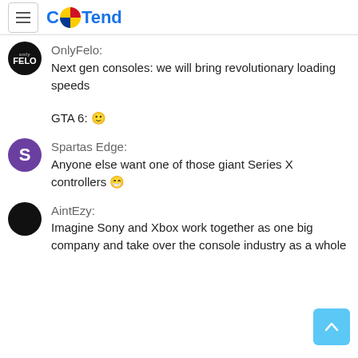CoTend
OnlyFelo:
Next gen consoles: we will bring revolutionary loading speeds
GTA 6: 🙂
Spartas Edge:
Anyone else want one of those giant Series X controllers 😁
AintEzy:
Imagine Sony and Xbox work together as one big company and take over the console industry as a whole